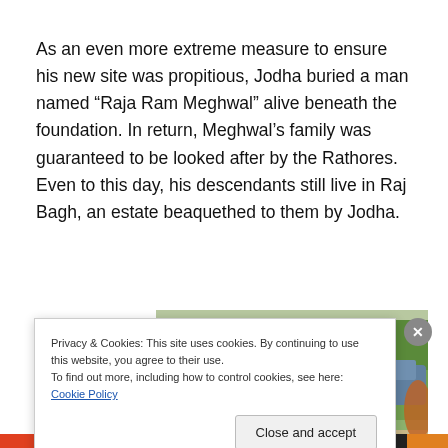As an even more extreme measure to ensure his new site was propitious, Jodha buried a man named “Raja Ram Meghwal” alive beneath the foundation. In return, Meghwal’s family was guaranteed to be looked after by the Rathores. Even to this day, his descendants still live in Raj Bagh, an estate beaquethed to them by Jodha.
[Figure (photo): Photo of a group of women, some carrying clay pots on their heads, standing outdoors with trees and a vehicle in the background. The women are wearing colorful traditional clothing.]
Privacy & Cookies: This site uses cookies. By continuing to use this website, you agree to their use.
To find out more, including how to control cookies, see here: Cookie Policy